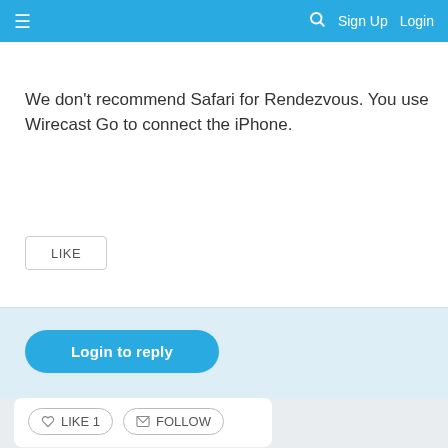≡   🔍   Sign Up   Login
We don't recommend Safari for Rendezvous. You use Wirecast Go to connect the iPhone.
LIKE
Login to reply
LIKE 1   FOLLOW